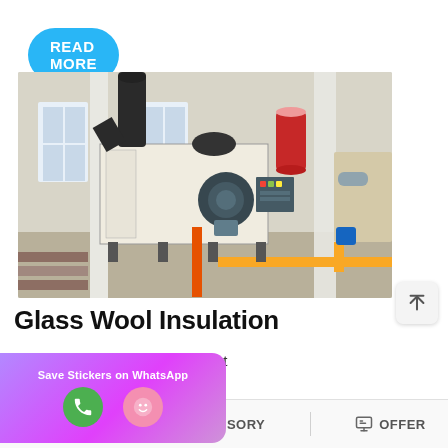READ MORE
[Figure (photo): Industrial boiler room with large white boiler unit, black exhaust duct, red cylindrical tank, blue motor/burner assembly, and yellow gas pipes in a light-colored industrial building.]
Glass Wool Insulation
Rock wool felt-It is used for heat d absorption of large-caliber
[Figure (other): Save Stickers on WhatsApp promotional overlay with phone and emoji icons]
MAIL   ADVISORY   OFFER